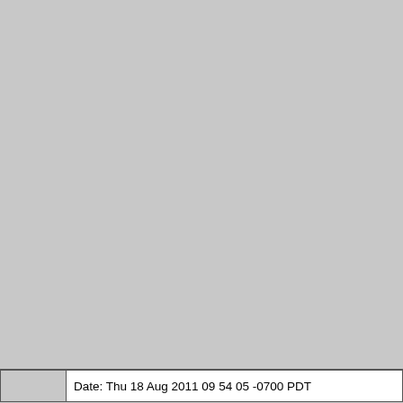[Figure (photo): Large gray blank area occupying most of the page]
Date: Thu 18 Aug 2011 09 54 05 -0700 PDT